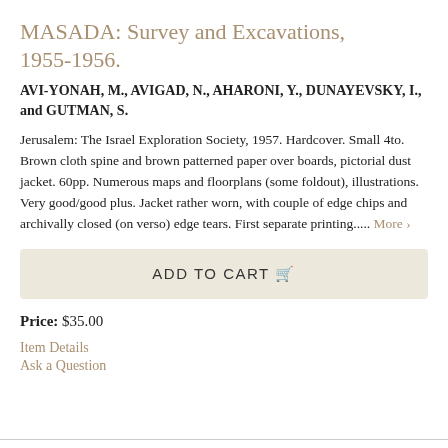MASADA: Survey and Excavations, 1955-1956.
AVI-YONAH, M., AVIGAD, N., AHARONI, Y., DUNAYEVSKY, I., and GUTMAN, S.
Jerusalem: The Israel Exploration Society, 1957. Hardcover. Small 4to. Brown cloth spine and brown patterned paper over boards, pictorial dust jacket. 60pp. Numerous maps and floorplans (some foldout), illustrations. Very good/good plus. Jacket rather worn, with couple of edge chips and archivally closed (on verso) edge tears. First separate printing..... More ›
ADD TO CART
Price: $35.00
Item Details
Ask a Question